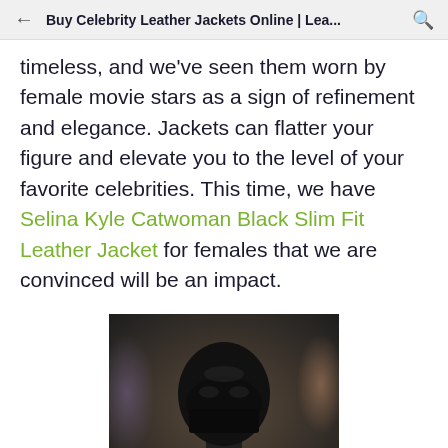Buy Celebrity Leather Jackets Online | Lea...
timeless, and we've seen them worn by female movie stars as a sign of refinement and elegance. Jackets can flatter your figure and elevate you to the level of your favorite celebrities. This time, we have Selina Kyle Catwoman Black Slim Fit Leather Jacket for females that we are convinced will be an impact.
[Figure (photo): A person wearing a black Catwoman-style mask and outfit, photographed from shoulders up, dark background with blurred elements]